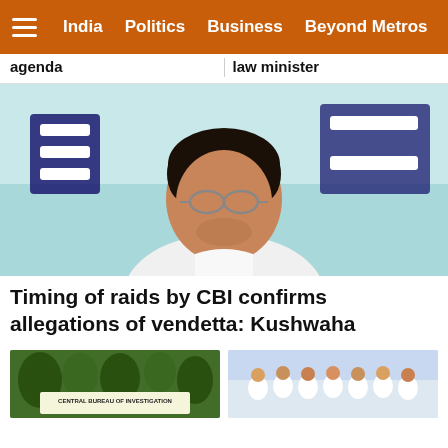India  Politics  Business  Beyond Metros
agenda
law minister
[Figure (photo): Press conference photo of a middle-aged Indian man with glasses and grey stubble, wearing a white shirt, speaking at a podium with Hindi text visible on a teal/blue backdrop in the background]
Timing of raids by CBI confirms allegations of vendetta: Kushwaha
[Figure (photo): Thumbnail image showing the CBI (Central Bureau of Investigation) building exterior sign]
[Figure (photo): Thumbnail image showing a group of people at what appears to be a public gathering or press event]